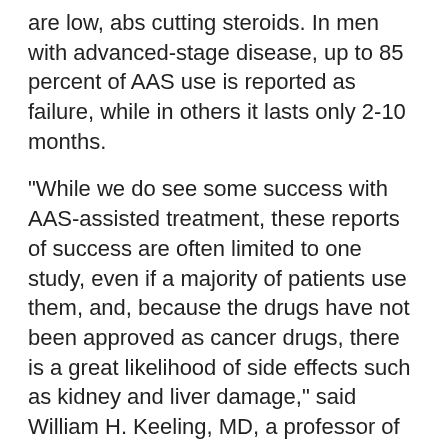are low, abs cutting steroids. In men with advanced-stage disease, up to 85 percent of AAS use is reported as failure, while in others it lasts only 2-10 months.
"While we do see some success with AAS-assisted treatment, these reports of success are often limited to one study, even if a majority of patients use them, and, because the drugs have not been approved as cancer drugs, there is a great likelihood of side effects such as kidney and liver damage," said William H. Keeling, MD, a professor of urology at Wayne State University in Detroit and a co-author of the new study. "The AAS companies need to put a stop to this misguided use before patients go on taking them as a lifesaving drug, how to take clenbuterol and t3 for weight loss. And in the meantime, we must ensure that physicians recognize and diagnose AAS misuse as a